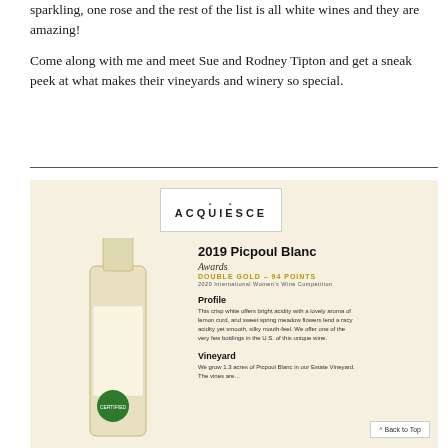sparkling, one rose and the rest of the list is all white wines and they are amazing!
Come along with me and meet Sue and Rodney Tipton and get a sneak peek at what makes their vineyards and winery so special.
[Figure (photo): Acquiesce Winery wine card for 2019 Picpoul Blanc showing bottle image, logo, awards (Double Gold – 94 Points, 2020 International Women's Wine Competition), profile text, and vineyard section with a Back to Top button.]